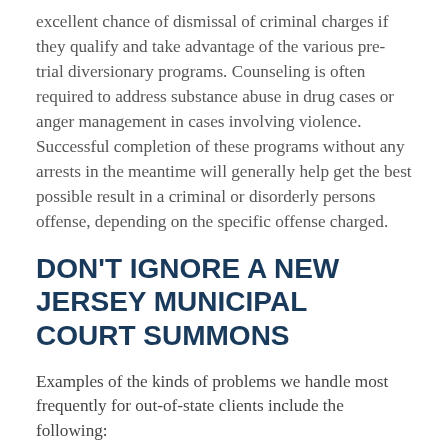excellent chance of dismissal of criminal charges if they qualify and take advantage of the various pre-trial diversionary programs. Counseling is often required to address substance abuse in drug cases or anger management in cases involving violence. Successful completion of these programs without any arrests in the meantime will generally help get the best possible result in a criminal or disorderly persons offense, depending on the specific offense charged.
DON'T IGNORE A NEW JERSEY MUNICIPAL COURT SUMMONS
Examples of the kinds of problems we handle most frequently for out-of-state clients include the following:
· Drunk driving, including DWI and DUID